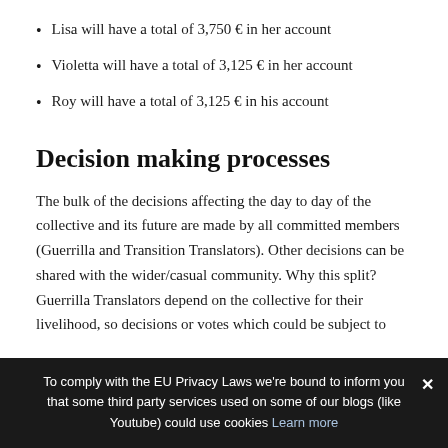Lisa will have a total of 3,750 € in her account
Violetta will have a total of 3,125 € in her account
Roy will have a total of 3,125 € in his account
Decision making processes
The bulk of the decisions affecting the day to day of the collective and its future are made by all committed members (Guerrilla and Transition Translators). Other decisions can be shared with the wider/casual community. Why this split? Guerrilla Translators depend on the collective for their livelihood, so decisions or votes which could be subject to harm by individuals who are not affected by the health of the
To comply with the EU Privacy Laws we're bound to inform you that some third party services used on some of our blogs (like Youtube) could use cookies Learn more